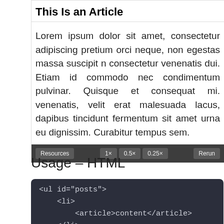This Is an Article
Lorem ipsum dolor sit amet, consectetur adipiscing pretium orci neque, non egestas massa suscipit n consectetur venenatis dui. Etiam id commodo nec condimentum pulvinar. Quisque et consequat mi. venenatis, velit erat malesuada lacus, dapibus tincidunt fermentum sit amet urna eu dignissim. Curabitur tempus sem.
Usage – HTML
[Figure (screenshot): Dark code editor panel showing HTML snippet: <ul id="posts"><li><article>content</article></li>]